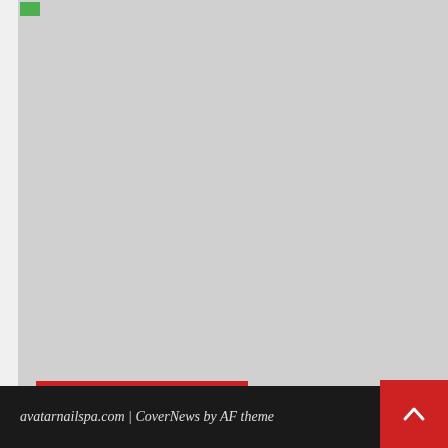[Figure (photo): Large gray placeholder image for a blog article card]
Dental And Aesthetic Cure
If You Make Order In Our Firm, You Might Get A Free Well being Inquiry By
4 days ago  Willy Urias
avatarnailspa.com | CoverNews by AF theme